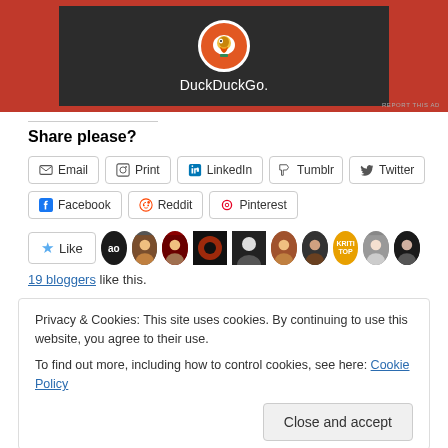[Figure (screenshot): DuckDuckGo advertisement banner with orange background and dark center panel showing the DuckDuckGo logo (duck in orange circle) and brand name in white text]
Share please?
Email | Print | LinkedIn | Tumblr | Twitter
Facebook | Reddit | Pinterest
[Figure (illustration): Like button with star icon followed by a row of blogger avatar thumbnails]
19 bloggers like this.
Privacy & Cookies: This site uses cookies. By continuing to use this website, you agree to their use.
To find out more, including how to control cookies, see here: Cookie Policy
Close and accept
Musings on Blade Runner:    Music Break: Five favorite